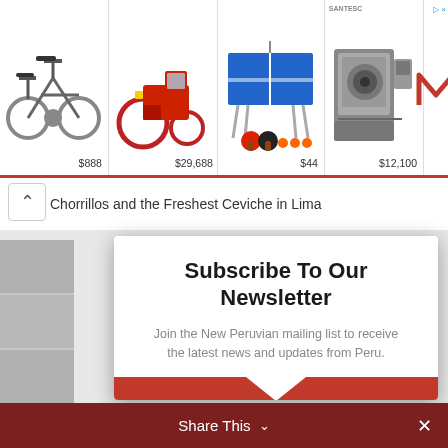[Figure (screenshot): Advertisement banner showing four product images: electric bicycle ($888), red tractor ($29,688), ping pong table with paddles ($44), and CNC machine ($12,100), with Mandalay logo on the right and an ad arrow icon.]
Chorrillos and the Freshest Ceviche in Lima
Subscribe To Our Newsletter
Join the New Peruvian mailing list to receive the latest news and updates from Peru.
EMAIL
SUBSCRIBE!
Share This